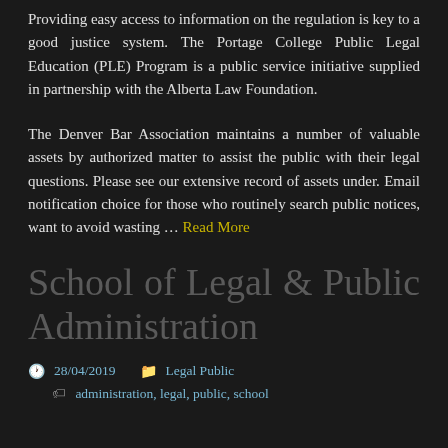Providing easy access to information on the regulation is key to a good justice system. The Portage College Public Legal Education (PLE) Program is a public service initiative supplied in partnership with the Alberta Law Foundation.
The Denver Bar Association maintains a number of valuable assets by authorized matter to assist the public with their legal questions. Please see our extensive record of assets under. Email notification choice for those who routinely search public notices, want to avoid wasting … Read More
School of Legal & Public Administration
28/04/2019   Legal Public
administration, legal, public, school